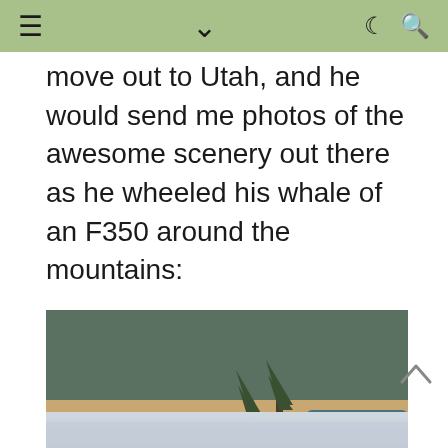≡  ∨  ☾ 🔍
move out to Utah, and he would send me photos of the awesome scenery out there as he wheeled his whale of an F350 around the mountains:
[Figure (photo): An F350 truck on the edge of a rocky mountain ridge with forested canyon scenery in the background, Utah mountains]
[Figure (photo): Partially visible second photo, showing a grey/blue blurred background at the bottom of the page]